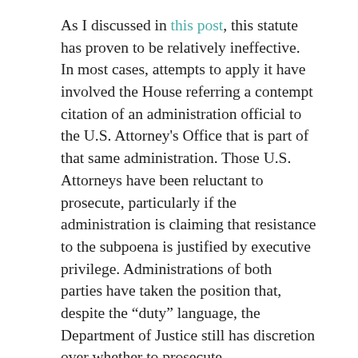As I discussed in this post, this statute has proven to be relatively ineffective. In most cases, attempts to apply it have involved the House referring a contempt citation of an administration official to the U.S. Attorney's Office that is part of that same administration. Those U.S. Attorneys have been reluctant to prosecute, particularly if the administration is claiming that resistance to the subpoena is justified by executive privilege. Administrations of both parties have taken the position that, despite the “duty” language, the Department of Justice still has discretion over whether to prosecute.
Recent examples of administration officials referred for contempt include IRS official Lois Lerner and attorney general Eric Holder during the Obama administration, and attorney general Bill Barr and commerce secretary Wilbur Ross during the Trump administration. None of